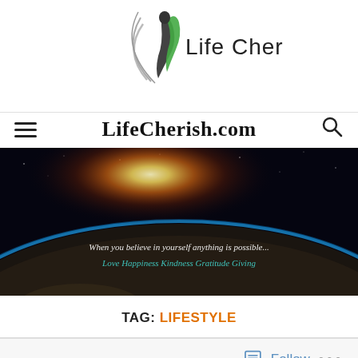[Figure (logo): Life Cherish logo with stylized figure and leaf/arc graphic, text 'Life Cherish']
LifeCherish.com
[Figure (photo): Banner image of Earth from space with sun rising over the horizon. Text overlay: 'When you believe in yourself anything is possible...' and 'Love Happiness Kindness Gratitude Giving']
TAG: LIFESTYLE
[Figure (other): WordPress Follow button with icon and ellipsis menu]